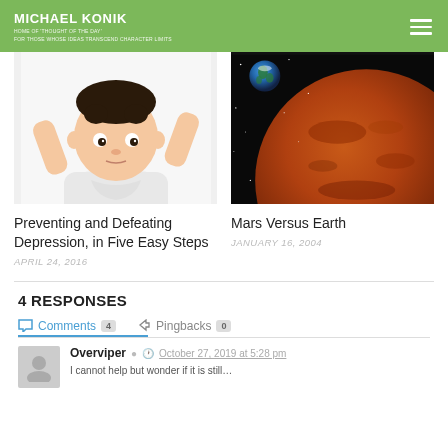MICHAEL KONIK
Home of 'Thought of the Day'
For those whose ideas transcend character limits
[Figure (photo): Photo of a baby/toddler with arms raised, white background]
[Figure (photo): Photo of Mars planet with Earth visible in background, space]
Preventing and Defeating Depression, in Five Easy Steps
APRIL 24, 2016
Mars Versus Earth
JANUARY 16, 2004
4 RESPONSES
Comments 4   Pingbacks 0
Overviper   October 27, 2019 at 5:28 pm